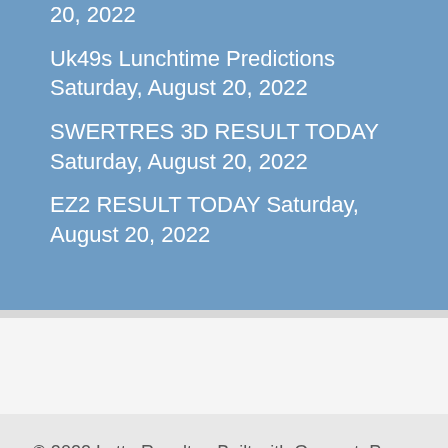20, 2022
Uk49s Lunchtime Predictions Saturday, August 20, 2022
SWERTRES 3D RESULT TODAY Saturday, August 20, 2022
EZ2 RESULT TODAY Saturday, August 20, 2022
© 2022 Lotto Results • Built with GeneratePress